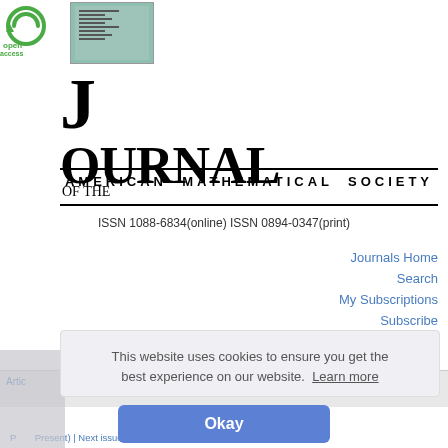[Figure (logo): Open Access green logo with circular arrow icon and 'open access' text in green]
[Figure (illustration): Small journal cover thumbnail with teal/green background and text lines]
JOURNAL OF THE AMERICAN MATHEMATICAL SOCIETY
ISSN 1088-6834(online) ISSN 0894-0347(print)
Journals Home
Search
My Subscriptions
Subscribe
Artic
This website uses cookies to ensure you get the best experience on our website.  Learn more
Okay
P
Present) | Next issue | Previous article | Articles in press | Recently